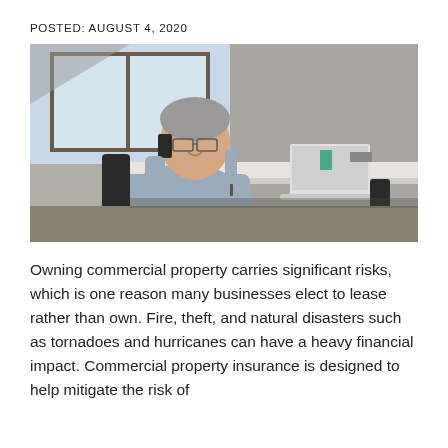POSTED: AUGUST 4, 2020
[Figure (photo): A middle-aged man with grey hair and glasses sitting at a modern office desk, talking on a mobile phone and holding a pen, with a laptop and office supplies on the desk, large windows and concrete wall in background.]
Owning commercial property carries significant risks, which is one reason many businesses elect to lease rather than own. Fire, theft, and natural disasters such as tornadoes and hurricanes can have a heavy financial impact. Commercial property insurance is designed to help mitigate the risk of